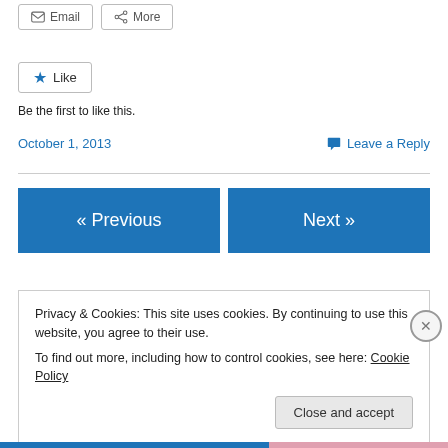[Figure (other): Share buttons: Email and More]
[Figure (other): Like button with star icon]
Be the first to like this.
October 1, 2013
Leave a Reply
[Figure (other): Navigation buttons: Previous and Next]
Privacy & Cookies: This site uses cookies. By continuing to use this website, you agree to their use.
To find out more, including how to control cookies, see here: Cookie Policy
Close and accept